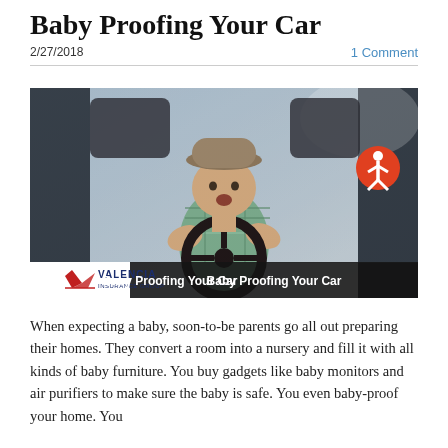Baby Proofing Your Car
2/27/2018
1 Comment
[Figure (photo): A baby wearing a cowboy hat sitting in the driver's seat of a car, holding the steering wheel, viewed through the windshield. The image has a Valencia Insurance Group branding bar at the bottom with the text 'Baby Proofing Your Car' and an accessibility icon in the upper right corner of the bar.]
When expecting a baby, soon-to-be parents go all out preparing their homes. They convert a room into a nursery and fill it with all kinds of baby furniture. You buy gadgets like baby monitors and air purifiers to make sure the baby is safe. You even baby-proof your home. You